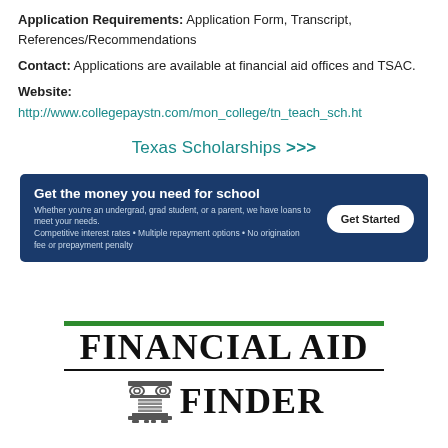Application Requirements: Application Form, Transcript, References/Recommendations
Contact: Applications are available at financial aid offices and TSAC.
Website:
http://www.collegepaystn.com/mon_college/tn_teach_sch.ht
Texas Scholarships >>>
[Figure (infographic): Blue banner advertisement: 'Get the money you need for school' with subtext about loans for undergrads, grad students, and parents, and a 'Get Started' button.]
[Figure (logo): Financial Aid Finder logo with green horizontal bar, bold serif text 'FINANCIAL AID' above a rule, and 'FINDER' beside a classical column icon.]